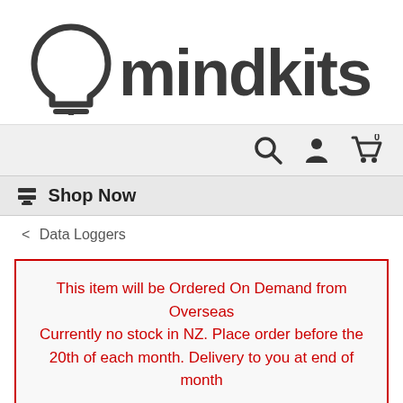[Figure (logo): Mindkits logo: lightbulb icon on the left and 'mindkits' text in dark gray on the right]
[Figure (other): Navigation icons: search magnifying glass, user/account silhouette, shopping cart with 0 badge]
Shop Now
< Data Loggers
This item will be Ordered On Demand from Overseas
Currently no stock in NZ. Place order before the 20th of each month. Delivery to you at end of month